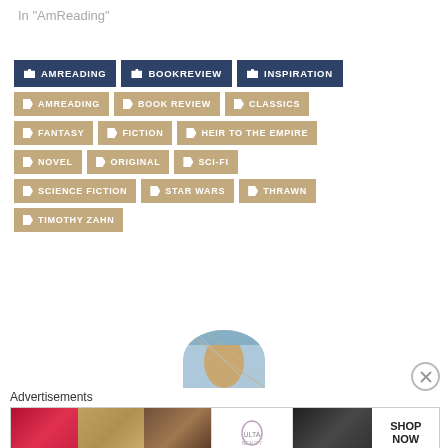In "AmReading"
AMREADING (folder tag, dark)
BOOKREVIEW (folder tag, dark)
INSPIRATION (folder tag, dark)
AMREADING
BOOK REVIEW
CLASSICS
FANTASY
FICTION
HEIR TO THE EMPIRE
NOVEL
ORIGINAL
SCI-FI
SCIENCE FICTION
STAR WARS
THRAWN
TIMOTHY ZAHN
[Figure (photo): Circular profile photo of a person partially visible, cropped at bottom of screen]
Advertisements
[Figure (photo): ULTA beauty advertisement banner with makeup imagery and SHOP NOW button]